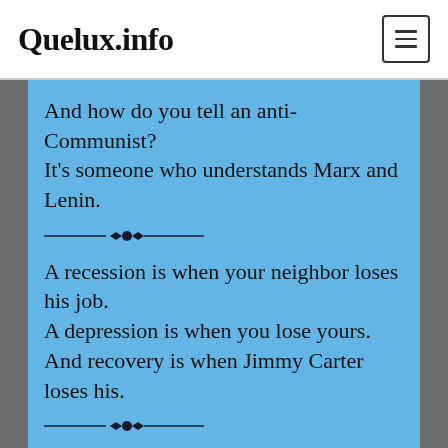Quelux.info
And how do you tell an anti-Communist? It’s someone who understands Marx and Lenin.
A recession is when your neighbor loses his job. A depression is when you lose yours. And recovery is when Jimmy Carter loses his.
Government’s view of the economy